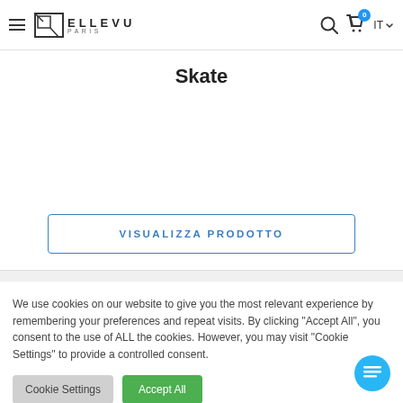ELLEVU PARIS navigation bar with hamburger menu, logo, search, cart (0), IT language selector
Skate
[Figure (other): Empty product image area]
VISUALIZZA PRODOTTO
We use cookies on our website to give you the most relevant experience by remembering your preferences and repeat visits. By clicking "Accept All", you consent to the use of ALL the cookies. However, you may visit "Cookie Settings" to provide a controlled consent.
Cookie Settings
Accept All